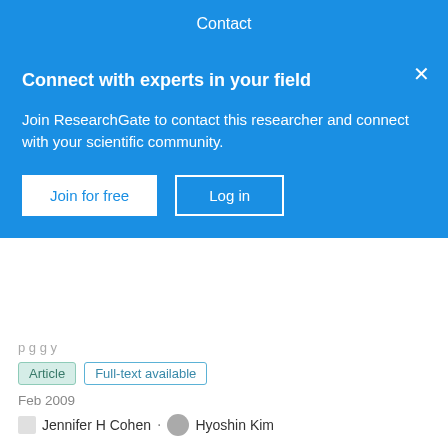Contact
Connect with experts in your field
Join ResearchGate to contact this researcher and connect with your scientific community.
Join for free
Log in
Article   Full-text available
Feb 2009
Jennifer H Cohen .  Hyoshin Kim
Approximately 40% of women of childbearing age report that they are attempting to lose weight. No professional medical organization recommends attempting to lose weight during pregnancy because of the possible risks to both mother and baby. Since half of all pregnancies are unintended, women may attempt to lose weight before they know they are preg...
View